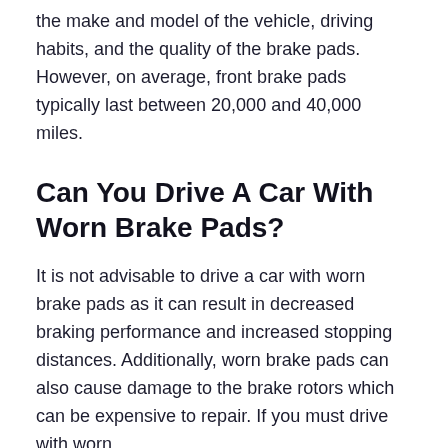the make and model of the vehicle, driving habits, and the quality of the brake pads. However, on average, front brake pads typically last between 20,000 and 40,000 miles.
Can You Drive A Car With Worn Brake Pads?
It is not advisable to drive a car with worn brake pads as it can result in decreased braking performance and increased stopping distances. Additionally, worn brake pads can also cause damage to the brake rotors which can be expensive to repair. If you must drive with worn